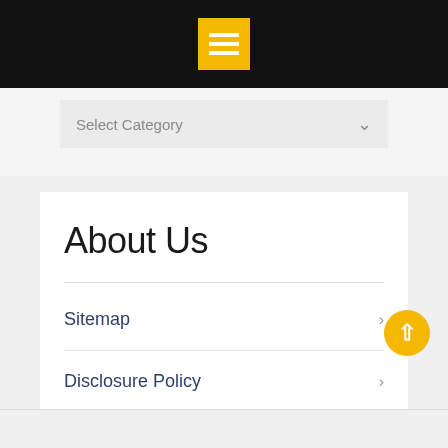[Figure (screenshot): Top black navigation bar with yellow hamburger menu icon (three white horizontal lines on yellow background)]
Select Category
About Us
Sitemap
Disclosure Policy
Advertise Here
Contact Us